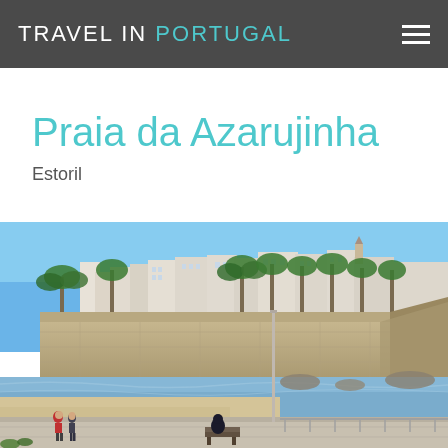TRAVEL IN PORTUGAL
Praia da Azarujinha
Estoril
[Figure (photo): Coastal beach scene at Praia da Azarujinha in Estoril, Portugal. Shows a promenade with benches, a sandy beach, calm ocean water with rocks, stone fortress walls, white apartment buildings, palm trees under a clear blue sky.]